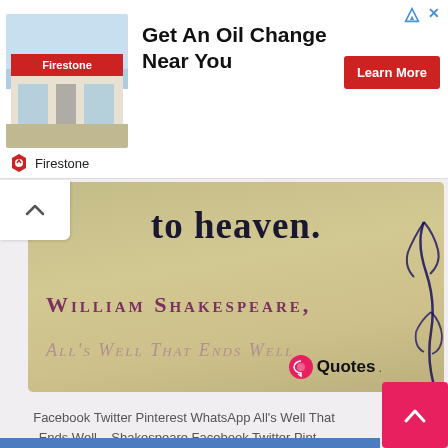[Figure (screenshot): Advertisement banner for Firestone oil change service. Shows a Firestone store photo on the left, bold text 'Get An Oil Change Near You' in center, a red 'Learn More' button on the right, and the Firestone logo with shield icon at bottom left.]
[Figure (photo): A photograph of a quote card with golden/tan background. Text reads: 'to heaven.' at top in large bold serif font, then 'WILLIAM SHAKESPEARE,' in purple small-caps, then 'ALL'S WELL THAT ENDS WELL' in italic small-caps. A decorative floral motif appears in the bottom-right corner. A 'Quotes' watermark with heart icon is in the lower-right area.]
Facebook Twitter Pinterest WhatsApp All's Well That Ends Well – Shakespeare Facebook Twitter Pinterest WhatsApp